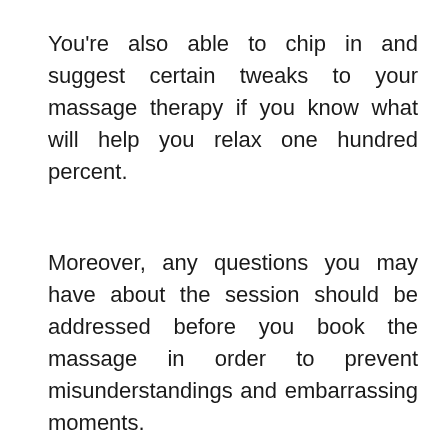You're also able to chip in and suggest certain tweaks to your massage therapy if you know what will help you relax one hundred percent.
Moreover, any questions you may have about the session should be addressed before you book the massage in order to prevent misunderstandings and embarrassing moments.